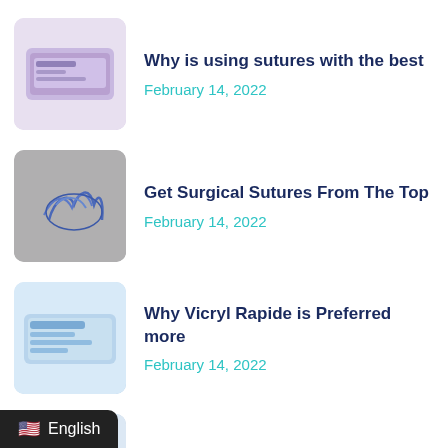Why is using sutures with the best
February 14, 2022
Get Surgical Sutures From The Top
February 14, 2022
Why Vicryl Rapide is Preferred more
February 14, 2022
Are Silk Braided Sutures Worth The
February 11, 2022
English